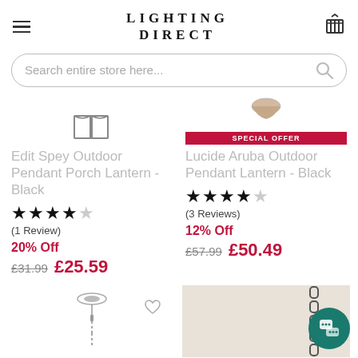LIGHTING DIRECT
Search entire store here...
[Figure (photo): Product thumbnail: outdoor pendant lantern with book-style lamp shade icon]
Edit Spey Outdoor Pendant Porch Lantern - Black
★★★★☆ (1 Review)
20% Off £31.99 £25.59
[Figure (photo): Product thumbnail: Lucide Aruba outdoor pendant with special offer badge and glass bowl top]
Lucide Aruba Outdoor Pendant Lantern - Black
★★★★☆ (3 Reviews)
12% Off £57.99 £50.49
[Figure (photo): Bottom product: pendant light fixture with chain]
[Figure (photo): Bottom product: chain/hardware detail on light background]